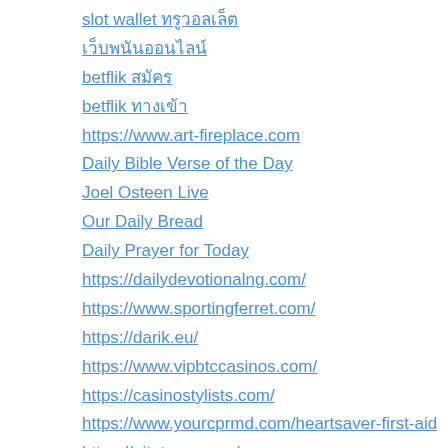slot wallet ทรูวอลเล็ต
เว็บพนันออนไลน์
betflik สมัคร
betflik ทางเข้า
https://www.art-fireplace.com
Daily Bible Verse of the Day
Joel Osteen Live
Our Daily Bread
Daily Prayer for Today
https://dailydevotionalng.com/
https://www.sportingferret.com/
https://darik.eu/
https://www.vipbtccasinos.com/
https://casinostylists.com/
https://www.yourcprmd.com/heartsaver-first-aid
https://nitetours.com/
https://dermainstitute.co.uk/
https://wikipedia.or.id/
https://www.thoughtsmag.com/